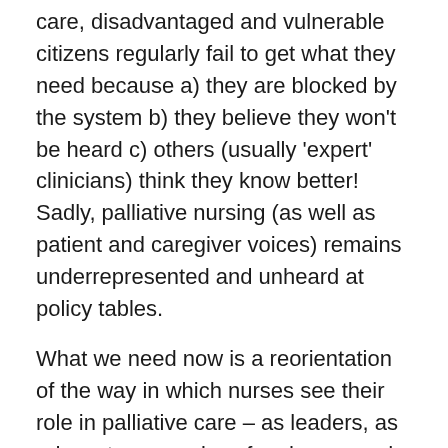care, disadvantaged and vulnerable citizens regularly fail to get what they need because a) they are blocked by the system b) they believe they won't be heard c) others (usually 'expert' clinicians) think they know better! Sadly, palliative nursing (as well as patient and caregiver voices) remains underrepresented and unheard at policy tables.
What we need now is a reorientation of the way in which nurses see their role in palliative care – as leaders, as advocates, as voices for change and reason and a repository of knowledge to support people to be part of the decisions made, not as the recipient of someone else's benevolent care. If we truly support a public health approach to palliative care, then nurses need to be prepared to engage with communities as partners, not practitioners.  The forthcoming Public Health Palliative